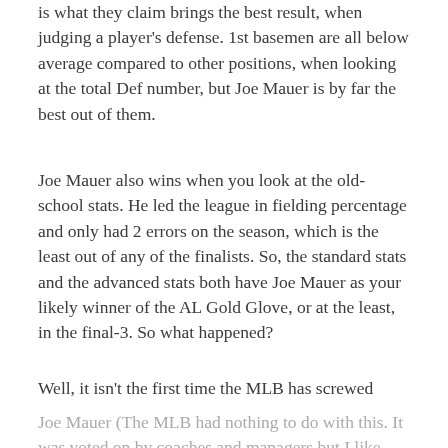is what they claim brings the best result, when judging a player's defense. 1st basemen are all below average compared to other positions, when looking at the total Def number, but Joe Mauer is by far the best out of them.
Joe Mauer also wins when you look at the old-school stats. He led the league in fielding percentage and only had 2 errors on the season, which is the least out of any of the finalists. So, the standard stats and the advanced stats both have Joe Mauer as your likely winner of the AL Gold Glove, or at the least, in the final-3. So what happened?
Well, it isn't the first time the MLB has screwed
Joe Mauer (The MLB had nothing to do with this. It was voted on by coaches and managers but I like